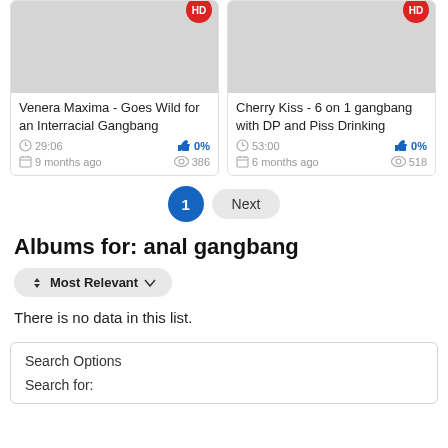[Figure (screenshot): Video thumbnail card with HD badge, gray background. Title: Venera Maxima - Goes Wild for an Interracial Gangbang. Duration: 29:06. Likes: 0%. Date: 9 months ago. Views: 386.]
[Figure (screenshot): Video thumbnail card with HD badge, gray background. Title: Cherry Kiss - 6 on 1 gangbang with DP and Piss Drinking. Duration: 53:00. Likes: 0%. Date: 6 months ago. Views: 518.]
1  Next
Albums for: anal gangbang
Most Relevant
There is no data in this list.
Search Options
Search for: